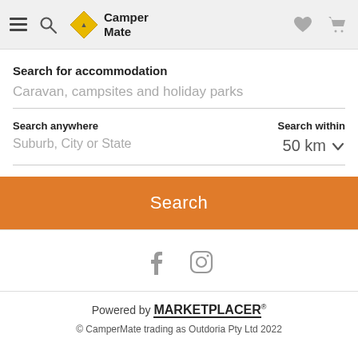CamperMate navigation header with hamburger menu, search icon, CamperMate logo, heart icon, and cart icon
Search for accommodation
Caravan, campsites and holiday parks
Search anywhere
Suburb, City or State
Search within
50 km
Search
[Figure (other): Facebook and Instagram social media icons]
Powered by MARKETPLACER
© CamperMate trading as Outdoria Pty Ltd 2022